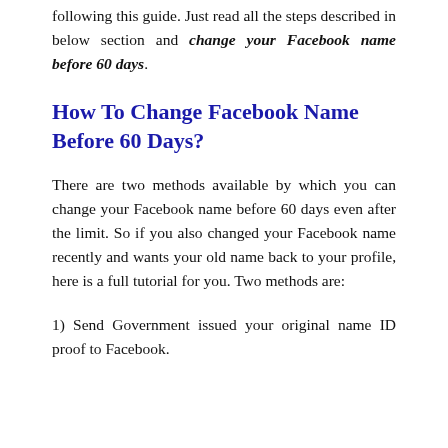following this guide. Just read all the steps described in below section and change your Facebook name before 60 days.
How To Change Facebook Name Before 60 Days?
There are two methods available by which you can change your Facebook name before 60 days even after the limit. So if you also changed your Facebook name recently and wants your old name back to your profile, here is a full tutorial for you. Two methods are:
1) Send Government issued your original name ID proof to Facebook.